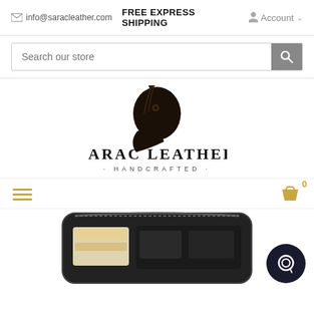✉ info@saracleather.com  FREE EXPRESS SHIPPING  Account
[Figure (screenshot): Search bar with placeholder 'Search our store' and a search button]
[Figure (logo): Sarac Leather Handcrafted logo: black horse head silhouette above 'SARAC LEATHER' in large serif letters and '· HANDCRAFTED ·' below]
[Figure (screenshot): Navigation bar with hamburger menu icon on left (gold lines) and shopping cart icon with badge '0' on right]
[Figure (photo): Bottom portion of a black leather zip wallet/cardholder product photo, partially visible]